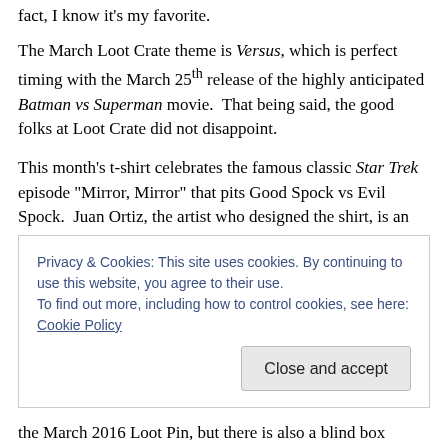fact, I know it’s my favorite.
The March Loot Crate theme is Versus, which is perfect timing with the March 25th release of the highly anticipated Batman vs Superman movie.  That being said, the good folks at Loot Crate did not disappoint.
This month’s t-shirt celebrates the famous classic Star Trek episode “Mirror, Mirror” that pits Good Spock vs Evil Spock.  Juan Ortiz, the artist who designed the shirt, is an avid Star Trek fan and created posters depicting every episode of the original series.  The “Mirror, Mirror” poster,
Privacy & Cookies: This site uses cookies. By continuing to use this website, you agree to their use.
To find out more, including how to control cookies, see here: Cookie Policy
Close and accept
the March 2016 Loot Pin, but there is also a blind box